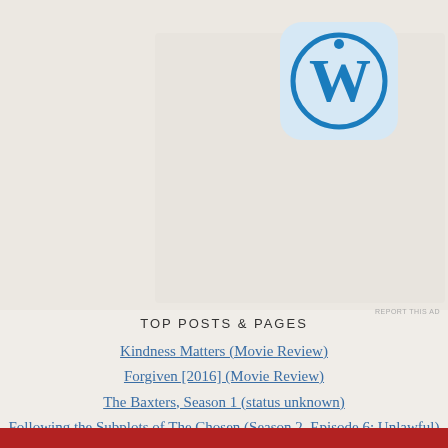[Figure (logo): WordPress logo icon — blue W in a circle on a rounded square light blue background]
TOP POSTS & PAGES
Kindness Matters (Movie Review)
Forgiven [2016] (Movie Review)
The Baxters, Season 1 (status unknown)
Following the Subplots of The Chosen (Season 2, Episode 6: Unlawful)
Privacy & Cookies: This site uses cookies. By continuing to use this website, you agree to their use.
To find out more, including how to control cookies, see here: Cookie Policy
Close and accept